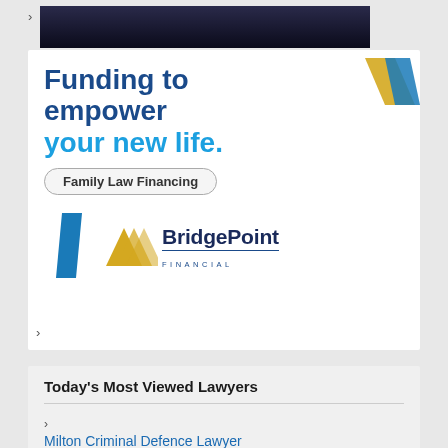[Figure (photo): Top portion of a dark-themed image (car or similar), partially visible at the top of the page]
[Figure (illustration): BridgePoint Financial advertisement. Bold text reads 'Funding to empower your new life.' with a 'Family Law Financing' badge and BridgePoint Financial logo with decorative parallelogram shapes in blue and gold.]
Today's Most Viewed Lawyers
Milton Criminal Defence Lawyer Jag Virk (7 views)
Jeremy Diamond